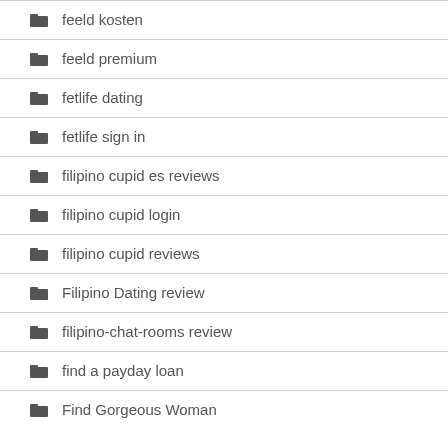feeld kosten
feeld premium
fetlife dating
fetlife sign in
filipino cupid es reviews
filipino cupid login
filipino cupid reviews
Filipino Dating review
filipino-chat-rooms review
find a payday loan
Find Gorgeous Woman